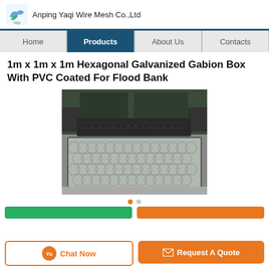Anping Yaqi Wire Mesh Co.,Ltd
1m x 1m x 1m Hexagonal Galvanized Gabion Box With PVC Coated For Flood Bank
[Figure (photo): Photo of hexagonal galvanized gabion boxes with PVC coating stacked and displayed, showing wire mesh construction. Dark colored gabion boxes visible in background and a silver wire mesh gabion box in foreground.]
Chat Now
Request A Quote